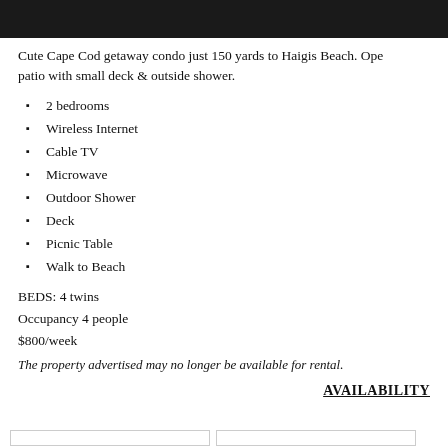[Figure (photo): Dark/black image strip at top of page, likely a photo of the condo or beach property]
Cute Cape Cod getaway condo just 150 yards to Haigis Beach. Ope patio with small deck & outside shower.
2 bedrooms
Wireless Internet
Cable TV
Microwave
Outdoor Shower
Deck
Picnic Table
Walk to Beach
BEDS: 4 twins
Occupancy 4 people
$800/week
The property advertised may no longer be available for rental.
AVAILABILITY